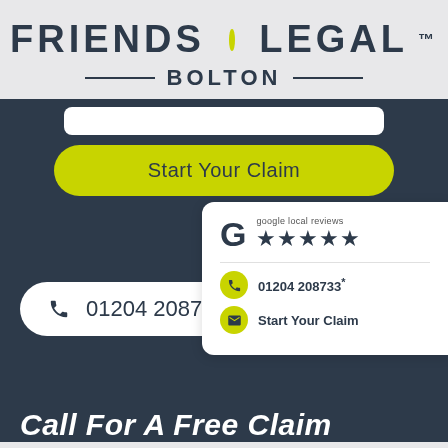FRIENDS LEGAL™ BOLTON
[Figure (screenshot): Friends Legal Bolton website screenshot showing Start Your Claim button, Google 5-star local reviews card with phone number 01204 208733 and Start Your Claim link, a phone pill button showing 01204 208733, a yellow menu circle button, and partial text 'Call For A Free Claim']
Start Your Claim
google local reviews ★★★★★
01204 208733*
Start Your Claim
01204 208733
Call For A Free Claim